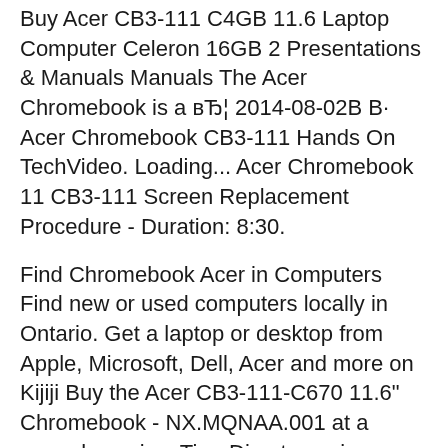Buy Acer CB3-111 C4GB 11.6 Laptop Computer Celeron 16GB 2 Presentations & Manuals Manuals The Acer Chromebook is a вЂ¦ 2014-08-02В В· Acer Chromebook CB3-111 Hands On TechVideo. Loading... Acer Chromebook 11 CB3-111 Screen Replacement Procedure - Duration: 8:30.
Find Chromebook Acer in Computers Find new or used computers locally in Ontario. Get a laptop or desktop from Apple, Microsoft, Dell, Acer and more on Kijiji Buy the Acer CB3-111-C670 11.6" Chromebook - NX.MQNAA.001 at a super low price. TigerDirect.com is your one source for the best computer and electronics deals